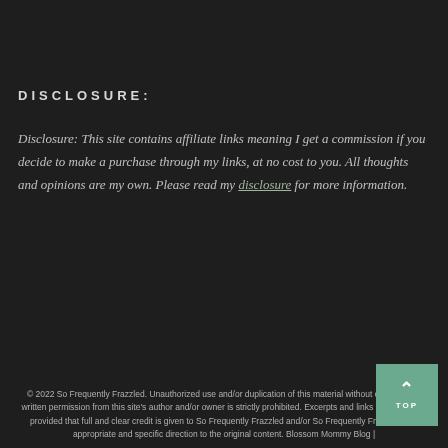DISCLOSURE:
Disclosure:  This site  contains affiliate links meaning I get a commission if you decide to make a purchase through my links, at no cost to you.  All thoughts and opinions are my own.  Please read my disclosure for more information.
© 2022 So Frequently Frazzled. Unauthorized use and/or duplication of this material without express and written permission from this site's author and/or owner is strictly prohibited. Excerpts and links may be used, provided that full and clear credit is given to So Frequently Frazzled and/or So Frequently Frazzled with appropriate and specific direction to the original content. Blossom Mommy Blog |